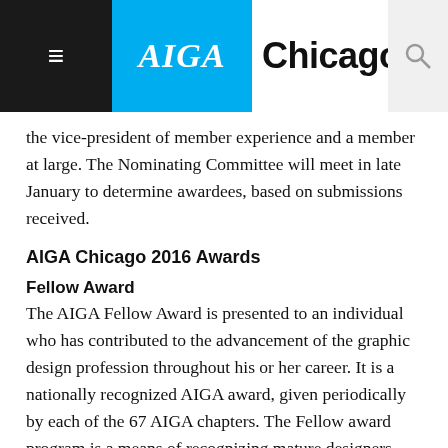AIGA Chicago
the vice-president of member experience and a member at large. The Nominating Committee will meet in late January to determine awardees, based on submissions received.
AIGA Chicago 2016 Awards
Fellow Award
The AIGA Fellow Award is presented to an individual who has contributed to the advancement of the graphic design profession throughout his or her career. It is a nationally recognized AIGA award, given periodically by each of the 67 AIGA chapters. The Fellow award program is a means of recognizing mature designers who have made a significant contribution to raising the standards of excellence in practice and conduct within their local or regional design community as well as in their local AIGA chapter. The areas of education, writing, leadership and reputation, as well as the practice of